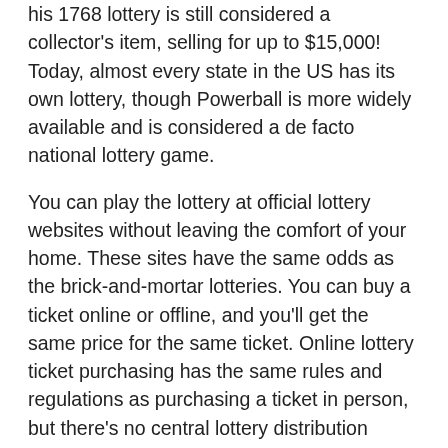his 1768 lottery is still considered a collector's item, selling for up to $15,000! Today, almost every state in the US has its own lottery, though Powerball is more widely available and is considered a de facto national lottery game.
You can play the lottery at official lottery websites without leaving the comfort of your home. These sites have the same odds as the brick-and-mortar lotteries. You can buy a ticket online or offline, and you'll get the same price for the same ticket. Online lottery ticket purchasing has the same rules and regulations as purchasing a ticket in person, but there's no central lottery distribution center to handle your transaction. Hence, you'll end up with a lower quality service. And if you win, you can't just withdraw your winnings.
The lottery has changed drastically. Its popularity has skyrocketed. Online lottery sites have become the hottest tickets in town, offering players an easier and more convenient way to play the game. You can win big with the help of these